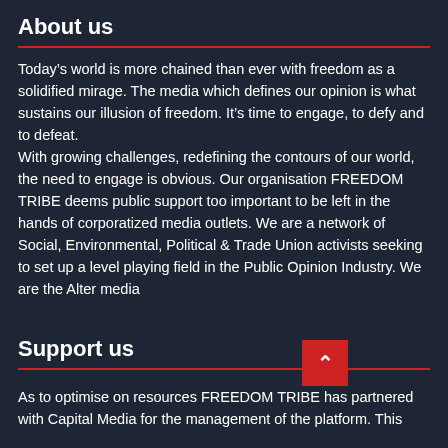About us
Today’s world is more chained than ever with freedom as a solidified mirage. The media which defines our opinion is what sustains our illusion of freedom. It’s time to engage, to defy and to defeat.
With growing challenges, redefining the contours of our world, the need to engage is obvious. Our organisation FREEDOM TRIBE deems public support too important to be left in the hands of corporatized media outlets. We are a network of Social, Environmental, Political & Trade Union activists seeking to set up a level playing field in the Public Opinion Industry. We are the Alter media
Support us
As to optimise on resources FREEDOM TRIBE has partnered with Capital Media for the management of the platform. This